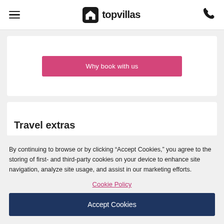topvillas
[Figure (screenshot): Pink 'Why book with us' button on white card background]
Travel extras
By continuing to browse or by clicking “Accept Cookies,” you agree to the storing of first- and third-party cookies on your device to enhance site navigation, analyze site usage, and assist in our marketing efforts.
Cookie Policy
Accept Cookies